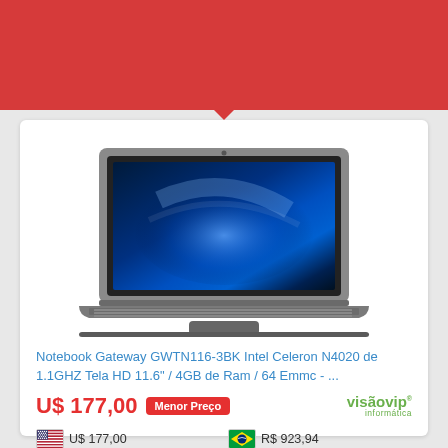[Figure (illustration): Red banner header at top of page]
[Figure (photo): Gateway GWTN116-3BK laptop computer, open, showing blue wallpaper on screen, gray body with keyboard]
Notebook Gateway GWTN116-3BK Intel Celeron N4020 de 1.1GHZ Tela HD 11.6" / 4GB de Ram / 64 Emmc - ...
U$ 177,00 Menor Preço
[Figure (logo): Visão VIP Informática logo in green]
U$ 177,00
R$ 923,94
₵ 1221300
$ 51.330,00